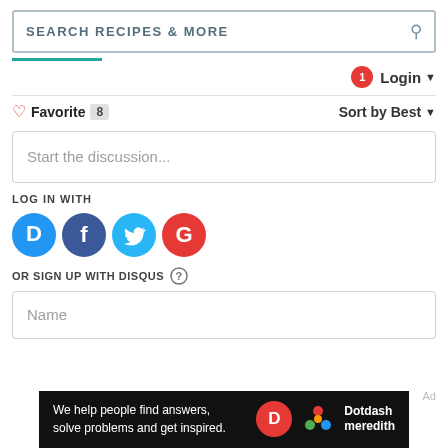SEARCH RECIPES & MORE
1  Login
♡ Favorite  8    Sort by Best
Start the discussion...
LOG IN WITH
[Figure (logo): Social login icons: Disqus (D), Facebook (f), Twitter bird, Google (G)]
OR SIGN UP WITH DISQUS ?
Name
Ad
We help people find answers, solve problems and get inspired.  Dotdash meredith